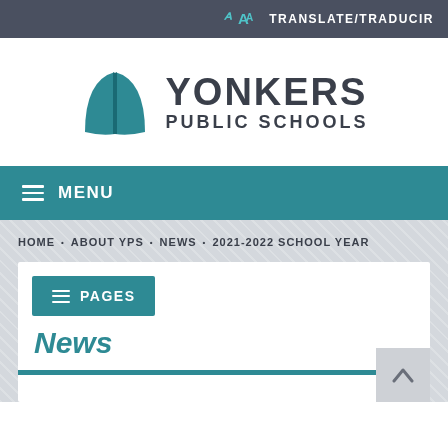TRANSLATE/TRADUCIR
[Figure (logo): Yonkers Public Schools logo with open book icon and text YONKERS PUBLIC SCHOOLS]
MENU
HOME • ABOUT YPS • NEWS • 2021-2022 SCHOOL YEAR
PAGES
News